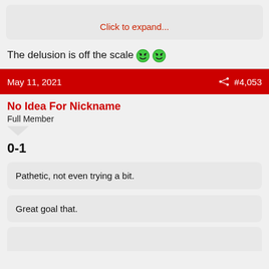Click to expand...
The delusion is off the scale 😄😄
May 11, 2021  #4,053
No Idea For Nickname
Full Member
0-1
Pathetic, not even trying a bit.
Great goal that.